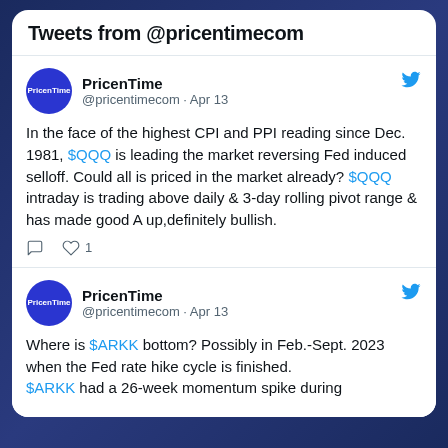Tweets from @pricentimecom
PricenTime @pricentimecom · Apr 13
In the face of the highest CPI and PPI reading since Dec. 1981, $QQQ is leading the market reversing Fed induced selloff. Could all is priced in the market already? $QQQ intraday is trading above daily & 3-day rolling pivot range & has made good A up,definitely bullish.
PricenTime @pricentimecom · Apr 13
Where is $ARKK bottom? Possibly in Feb.-Sept. 2023 when the Fed rate hike cycle is finished.
$ARKK had a 26-week momentum spike during